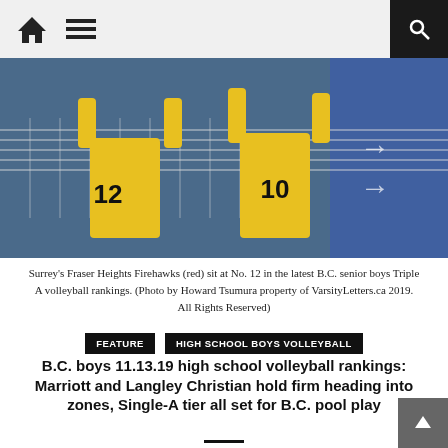Navigation bar with home icon, menu icon, and search icon
[Figure (photo): Two volleyball players in yellow jerseys numbered 12 and 10 at a volleyball net, shot from behind]
Surrey's Fraser Heights Firehawks (red) sit at No. 12 in the latest B.C. senior boys Triple A volleyball rankings. (Photo by Howard Tsumura property of VarsityLetters.ca 2019. All Rights Reserved)
FEATURE   HIGH SCHOOL BOYS VOLLEYBALL
B.C. boys 11.13.19 high school volleyball rankings: Marriott and Langley Christian hold firm heading into zones, Single-A tier all set for B.C. pool play
November 13, 2019   Howard Tsumura   Comment(0)
LANGLEY — The Double-A and Triple-A tiers each head into zone championships ahead of the provincials for